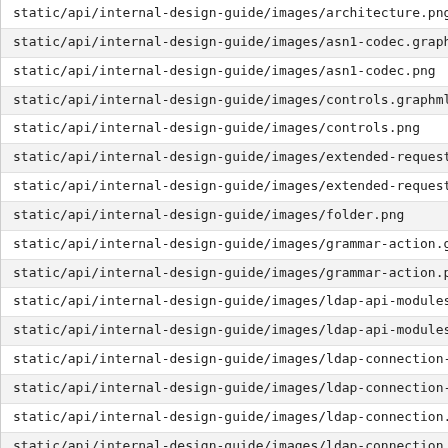static/api/internal-design-guide/images/architecture.png
static/api/internal-design-guide/images/asn1-codec.graphml
static/api/internal-design-guide/images/asn1-codec.png
static/api/internal-design-guide/images/controls.graphml
static/api/internal-design-guide/images/controls.png
static/api/internal-design-guide/images/extended-request-dec
static/api/internal-design-guide/images/extended-request-dec
static/api/internal-design-guide/images/folder.png
static/api/internal-design-guide/images/grammar-action.graph
static/api/internal-design-guide/images/grammar-action.png
static/api/internal-design-guide/images/ldap-api-modules.gra
static/api/internal-design-guide/images/ldap-api-modules.png
static/api/internal-design-guide/images/ldap-connection-fact
static/api/internal-design-guide/images/ldap-connection-fact
static/api/internal-design-guide/images/ldap-connection.grap
static/api/internal-design-guide/images/ldap-connection.png